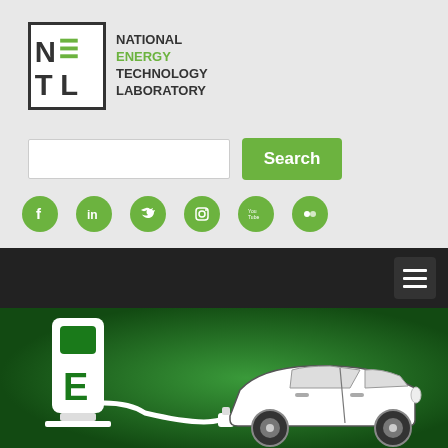[Figure (logo): NETL National Energy Technology Laboratory logo with green and black letter marks]
[Figure (screenshot): Search input field and green Search button]
[Figure (infographic): Row of 6 green circular social media icons: Facebook, LinkedIn, Twitter, Instagram, YouTube, Flickr]
[Figure (screenshot): Dark navigation bar with hamburger menu button on right]
[Figure (illustration): Green background with white outline of electric car plugged into an EV charging station with letter E on it]